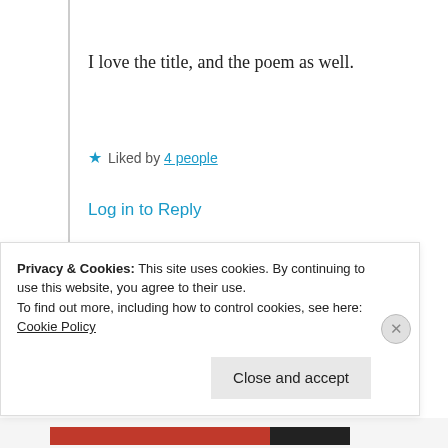I love the title, and the poem as well.
★ Liked by 4 people
Log in to Reply
Suma Reddy
24th Aug 2021 at 8:48 pm
Privacy & Cookies: This site uses cookies. By continuing to use this website, you agree to their use.
To find out more, including how to control cookies, see here: Cookie Policy
Close and accept